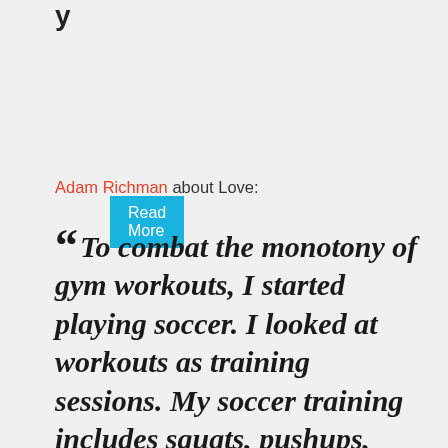y
Read More
Adam Richman about Love:
“To combat the monotony of gym workouts, I started playing soccer. I looked at workouts as training sessions. My soccer training includes squats, pushups, resistance-band work, and